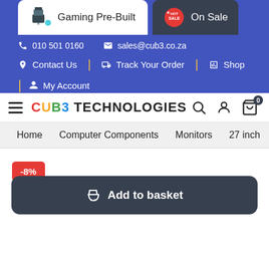Gaming Pre-Built | On Sale
010 501 0160  sales@cub3.co.za
Contact Us | Track Your Order | Shop
My Account
[Figure (logo): CUB3 TECHNOLOGIES logo with colorful letters C(red) U(yellow) B(green) 3(blue) and TECHNOLOGIES in black]
Home  Computer Components  Monitors  27 inch
-8%
Add to basket